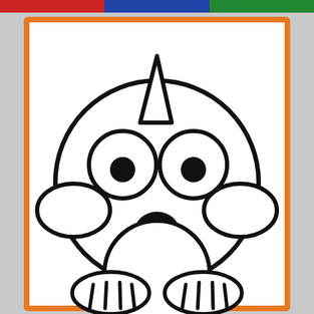[Figure (illustration): Cartoon dog face illustration with a color bar header (red, blue, green) at the top. The dog has a round head, floppy ears, large circular eyes with black pupils, a round black nose, and paws at the bottom. An orange rectangular border frames the illustration on a gray background.]